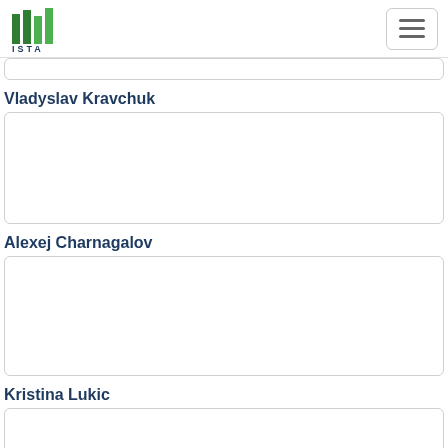ISTA
Vladyslav Kravchuk
Alexej Charnagalov
Kristina Lukic